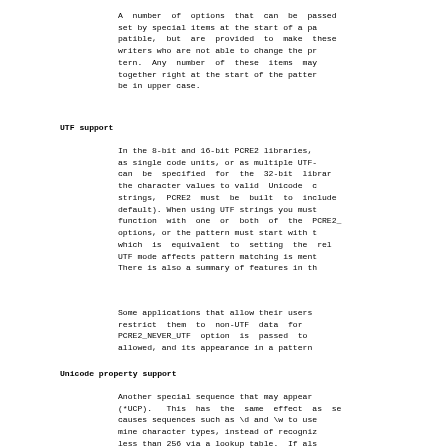A number of options that can be passed set by special items at the start of a pa patible, but are provided to make these writers who are not able to change the pr tern. Any number of these items may together right at the start of the patter be in upper case.
UTF support
In the 8-bit and 16-bit PCRE2 libraries, as single code units, or as multiple UTF- can be specified for the 32-bit librar the character values to valid Unicode c strings, PCRE2 must be built to include default). When using UTF strings you must function with one or both of the PCRE2_ options, or the pattern must start with t which is equivalent to setting the rel UTF mode affects pattern matching is ment There is also a summary of features in th
Some applications that allow their users restrict them to non-UTF data for PCRE2_NEVER_UTF option is passed to allowed, and its appearance in a pattern
Unicode property support
Another special sequence that may appear (*UCP). This has the same effect as se causes sequences such as \d and \w to use mine character types, instead of recogniz less than 256 via a lookup table. If als